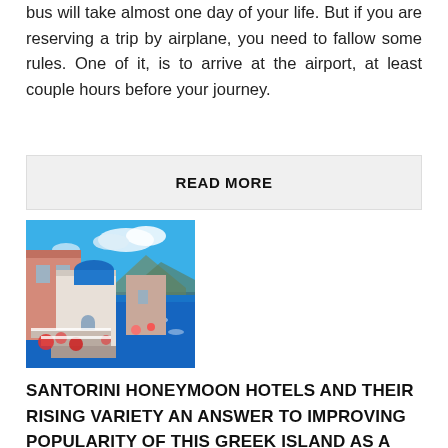bus will take almost one day of your life. But if you are reserving a trip by airplane, you need to fallow some rules. One of it, is to arrive at the airport, at least couple hours before your journey.
READ MORE
[Figure (photo): Santorini, Greece — colorful cliffside buildings overlooking the deep blue sea, with flowers and terraces in the foreground]
SANTORINI HONEYMOON HOTELS AND THEIR RISING VARIETY AN ANSWER TO IMPROVING POPULARITY OF THIS GREEK ISLAND AS A TOURIST DESTINATION